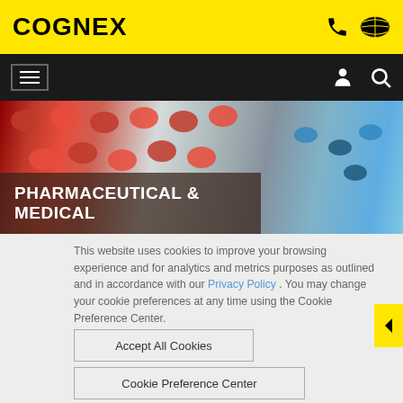COGNEX
[Figure (screenshot): Cognex website header with yellow background, COGNEX logo on left, phone and globe icons on right]
[Figure (photo): Close-up photo of red/orange pharmaceutical pills in blister packaging with blue pills on right side]
PHARMACEUTICAL & MEDICAL
This website uses cookies to improve your browsing experience and for analytics and metrics purposes as outlined and in accordance with our Privacy Policy . You may change your cookie preferences at any time using the Cookie Preference Center.
Accept All Cookies
Cookie Preference Center